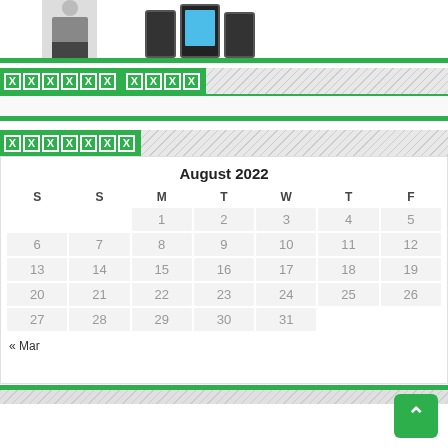[Figure (photo): Top portion of page showing partial images of a person and mobile phones]
XXXXXX XXXX
XXXXXXX
| S | S | M | T | W | T | F |
| --- | --- | --- | --- | --- | --- | --- |
|  | 1 | 2 | 3 | 4 | 5 |  |
|  | 6 | 7 | 8 | 9 | 10 | 11 | 12 |
|  | 13 | 14 | 15 | 16 | 17 | 18 | 19 |
|  | 20 | 21 | 22 | 23 | 24 | 25 | 26 |
|  | 27 | 28 | 29 | 30 | 31 |  |  |
« Mar